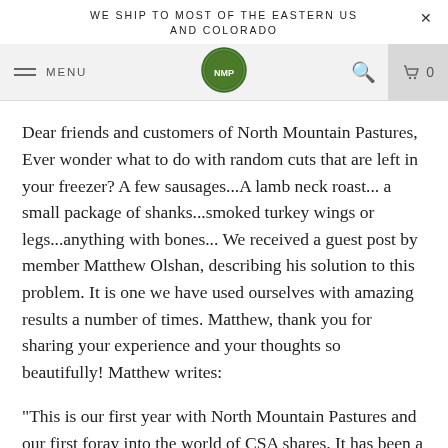WE SHIP TO MOST OF THE EASTERN US AND COLORADO
[Figure (screenshot): Website navigation bar with hamburger menu icon, MENU text, circular North Mountain Pastures logo, search icon, and shopping cart icon with 0 count]
Dear friends and customers of North Mountain Pastures, Ever wonder what to do with random cuts that are left in your freezer? A few sausages...A lamb neck roast... a small package of shanks...smoked turkey wings or legs...anything with bones... We received a guest post by member Matthew Olshan, describing his solution to this problem. It is one we have used ourselves with amazing results a number of times. Matthew, thank you for sharing your experience and your thoughts so beautifully! Matthew writes:
"This is our first year with North Mountain Pastures and our first foray into the world of CSA shares. It has been a rewarding and delicious experience